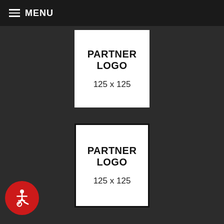MENU
[Figure (logo): Partner Logo placeholder box, white background, text: PARTNER LOGO, 125 x 125]
[Figure (logo): Partner Logo placeholder box, white background with black border, text: PARTNER LOGO, 125 x 125]
[Figure (logo): Partner Logo placeholder box, white background with black border, text: PARTNER LOGO (partially visible)]
[Figure (illustration): Accessibility icon button (red circle with wheelchair user symbol)]